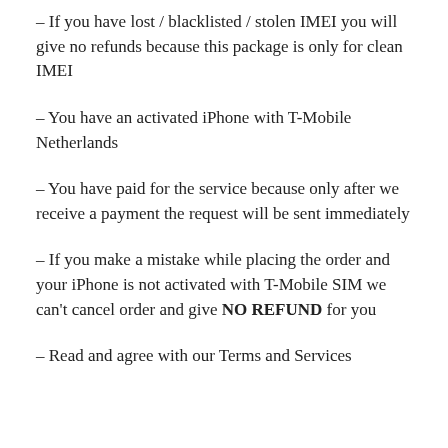– If you have lost / blacklisted / stolen IMEI you will give no refunds because this package is only for clean IMEI
– You have an activated iPhone with T-Mobile Netherlands
– You have paid for the service because only after we receive a payment the request will be sent immediately
– If you make a mistake while placing the order and your iPhone is not activated with T-Mobile SIM we can't cancel order and give NO REFUND for you
– Read and agree with our Terms and Services